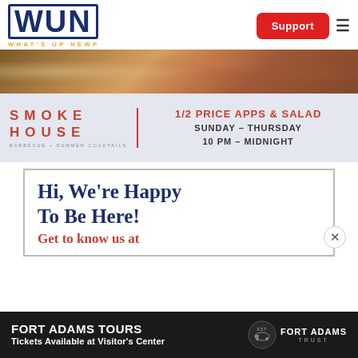[Figure (logo): WUN - What's Up Newp logo with blue block letters and gold subtitle]
[Figure (screenshot): Support button (red) and hamburger menu icon]
[Figure (photo): Food photo banner at top of Smokehouse advertisement]
[Figure (infographic): Smokehouse BBQ + Summer Cocktails advertisement: 1/2 Price Apps & Salad, Sunday-Thursday, 10 PM - Midnight]
Hi, We’re Happy To Be Here!
Get to know us at
[Figure (infographic): Fort Adams Tours - Tickets Available at Visitor's Center, Fort Adams Trust logo]